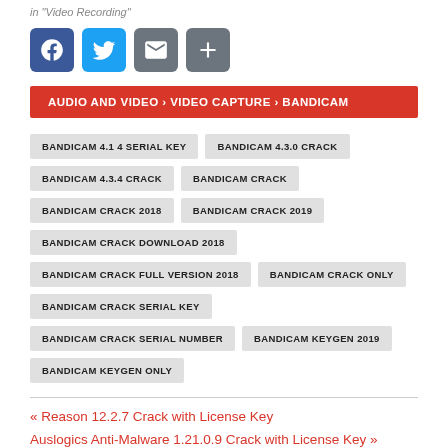in "Video Recording"
[Figure (other): Social sharing icons: Facebook, Twitter, Email, Share]
AUDIO AND VIDEO › VIDEO CAPTURE › BANDICAM
BANDICAM 4.1 4 SERIAL KEY
BANDICAM 4.3.0 CRACK
BANDICAM 4.3.4 CRACK
BANDICAM CRACK
BANDICAM CRACK 2018
BANDICAM CRACK 2019
BANDICAM CRACK DOWNLOAD 2018
BANDICAM CRACK FULL VERSION 2018
BANDICAM CRACK ONLY
BANDICAM CRACK SERIAL KEY
BANDICAM CRACK SERIAL NUMBER
BANDICAM KEYGEN 2019
BANDICAM KEYGEN ONLY
« Reason 12.2.7 Crack with License Key
Auslogics Anti-Malware 1.21.0.9 Crack with License Key »